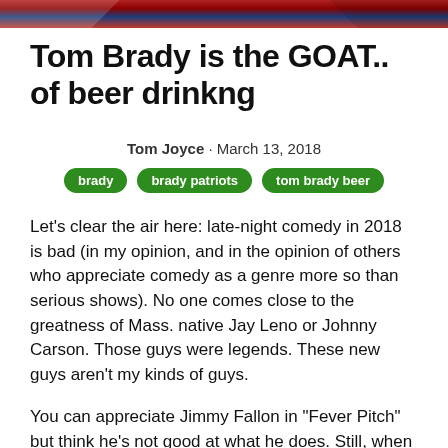[Figure (photo): Cropped photo strip showing football players in red and blue uniforms at the top of the page]
Tom Brady is the GOAT.. of beer drinkng
Tom Joyce · March 13, 2018
brady
brady patriots
tom brady beer
Let's clear the air here: late-night comedy in 2018 is bad (in my opinion, and in the opinion of others who appreciate comedy as a genre more so than serious shows). No one comes close to the greatness of Mass. native Jay Leno or Johnny Carson. Those guys were legends. These new guys aren't my kinds of guys.
You can appreciate Jimmy Fallon in "Fever Pitch" but think he's not good at what he does. Still, when someone from the New England Patriots comes on one of their shows, you're still drawn to it. You still want to see what Tom Brady says even if you don't like Stephen Colbert that is.